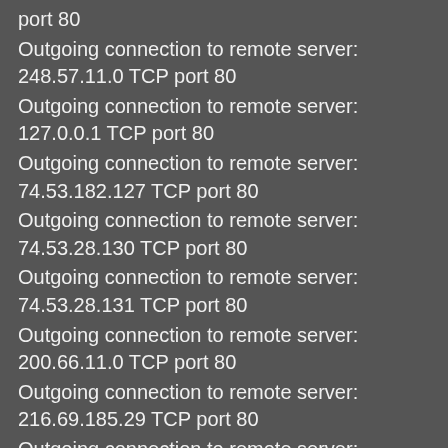port 80
Outgoing connection to remote server: 248.57.11.0 TCP port 80
Outgoing connection to remote server: 127.0.0.1 TCP port 80
Outgoing connection to remote server: 74.53.182.127 TCP port 80
Outgoing connection to remote server: 74.53.28.130 TCP port 80
Outgoing connection to remote server: 74.53.28.131 TCP port 80
Outgoing connection to remote server: 200.66.11.0 TCP port 80
Outgoing connection to remote server: 216.69.185.29 TCP port 80
Outgoing connection to remote server: 208.109.255.29 TCP port 80
Outgoing connection to remote server: 248.57.11.0 TCP